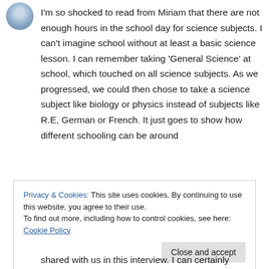[Figure (photo): Small circular avatar image of a person in the top left corner]
I'm so shocked to read from Miriam that there are not enough hours in the school day for science subjects. I can't imagine school without at least a basic science lesson. I can remember taking 'General Science' at school, which touched on all science subjects. As we progressed, we could then chose to take a science subject like biology or physics instead of subjects like R.E, German or French. It just goes to show how different schooling can be around
Privacy & Cookies: This site uses cookies. By continuing to use this website, you agree to their use.
To find out more, including how to control cookies, see here: Cookie Policy
shared with us in this interview. I can certainly